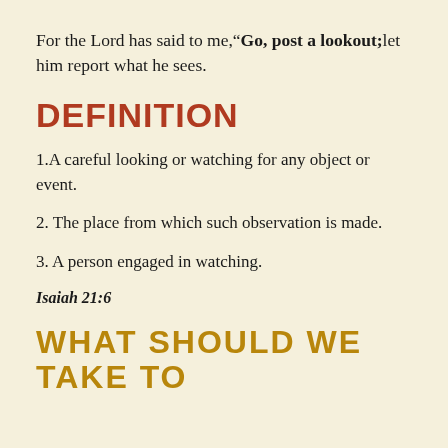For the Lord has said to me, "Go, post a lookout; let him report what he sees.
DEFINITION
1.A careful looking or watching for any object or event.
2. The place from which such observation is made.
3. A person engaged in watching.
Isaiah 21:6
WHAT SHOULD WE TAKE TO